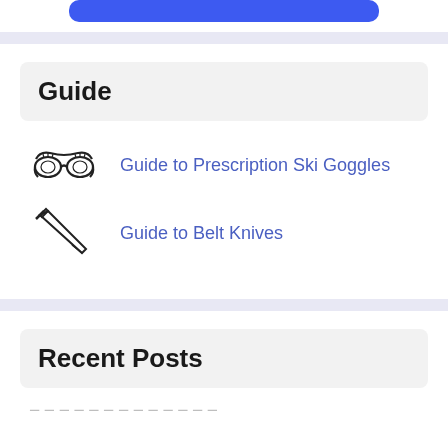[Figure (other): Blue button/bar at top of page, partially cropped]
Guide
Guide to Prescription Ski Goggles
Guide to Belt Knives
Recent Posts